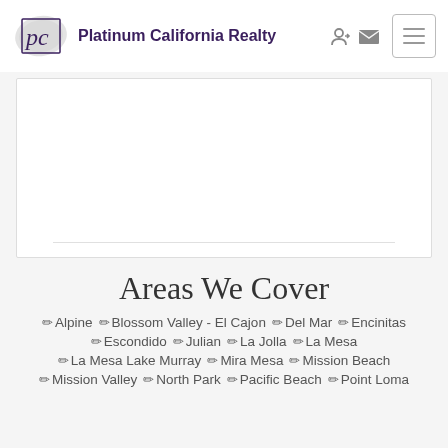Platinum California Realty
[Figure (logo): Platinum California Realty logo with stylized 'pc' letters and brush stroke, with company name text]
[Figure (screenshot): White card/content area placeholder with a horizontal divider line near the bottom]
Areas We Cover
Alpine
Blossom Valley - El Cajon
Del Mar
Encinitas
Escondido
Julian
La Jolla
La Mesa
La Mesa Lake Murray
Mira Mesa
Mission Beach
Mission Valley
North Park
Pacific Beach
Point Loma